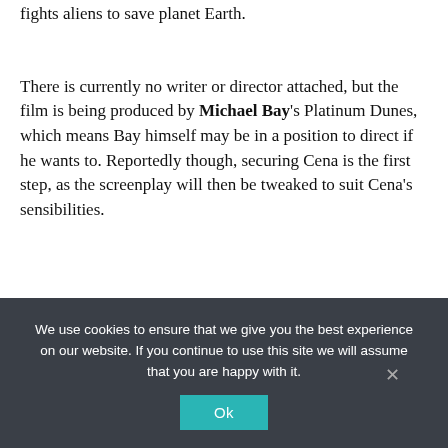fights aliens to save planet Earth.
There is currently no writer or director attached, but the film is being produced by Michael Bay's Platinum Dunes, which means Bay himself may be in a position to direct if he wants to. Reportedly though, securing Cena is the first step, as the screenplay will then be tweaked to suit Cena's sensibilities.
We use cookies to ensure that we give you the best experience on our website. If you continue to use this site we will assume that you are happy with it.
Ok